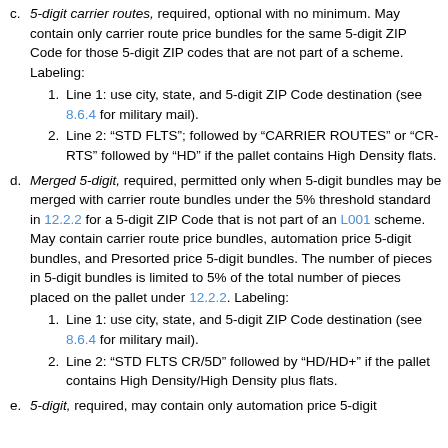c. 5-digit carrier routes, required, optional with no minimum. May contain only carrier route price bundles for the same 5-digit ZIP Code for those 5-digit ZIP codes that are not part of a scheme. Labeling:
1. Line 1: use city, state, and 5-digit ZIP Code destination (see 8.6.4 for military mail).
2. Line 2: "STD FLTS"; followed by "CARRIER ROUTES" or "CR-RTS" followed by "HD" if the pallet contains High Density flats.
d. Merged 5-digit, required, permitted only when 5-digit bundles may be merged with carrier route bundles under the 5% threshold standard in 12.2.2 for a 5-digit ZIP Code that is not part of an L001 scheme. May contain carrier route price bundles, automation price 5-digit bundles, and Presorted price 5-digit bundles. The number of pieces in 5-digit bundles is limited to 5% of the total number of pieces placed on the pallet under 12.2.2. Labeling:
1. Line 1: use city, state, and 5-digit ZIP Code destination (see 8.6.4 for military mail).
2. Line 2: "STD FLTS CR/5D" followed by "HD/HD+" if the pallet contains High Density/High Density plus flats.
e. 5-digit, required, may contain only automation price 5-digit